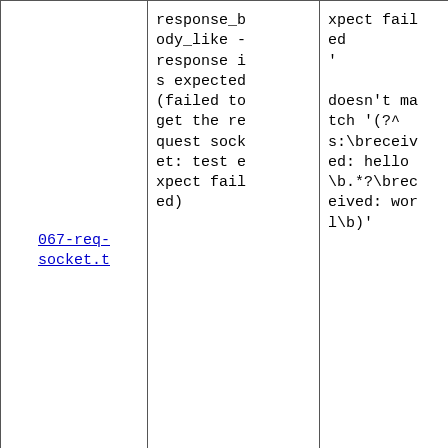| 067-req-socket.t | response_body_like - response is expected (failed to get the request socket: test expect failed) | xpect failed
'
doesn't match '(?^s:\breceived: hello\b.*?\breceived: worl\b)' |
| 067-req-socket.t | TEST 7: Expect & 100 Continue - status code ok | got: '200' expected: '100' |
| 067-req-socket.t (partial) | TEST 7: Expect & 100 Continue - response_body_like - response i | 'failed to get the request socket: test expect failed
' |